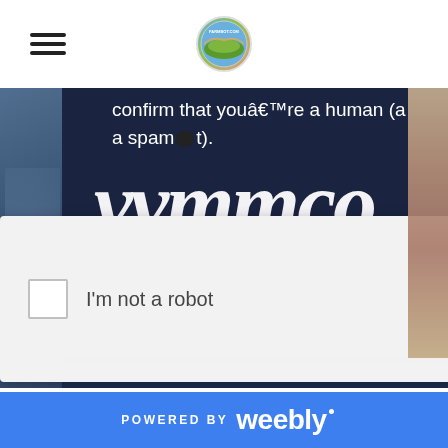Navigation header with hamburger menu and site logo
[Figure (screenshot): Screenshot of a Vimeo reCAPTCHA verification page showing text 'confirm that youâ€™re a human (a a spambot).' with large Vimeo italic letters and an 'I'm not a robot' reCAPTCHA checkbox overlay]
[Figure (screenshot): Background photo collage showing people working, partially visible behind the dark overlay]
POWERED BY weebly